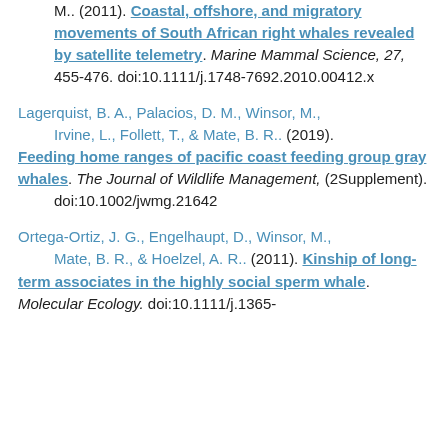M.. (2011). Coastal, offshore, and migratory movements of South African right whales revealed by satellite telemetry. Marine Mammal Science, 27, 455-476. doi:10.1111/j.1748-7692.2010.00412.x
Lagerquist, B. A., Palacios, D. M., Winsor, M., Irvine, L., Follett, T., & Mate, B. R.. (2019). Feeding home ranges of pacific coast feeding group gray whales. The Journal of Wildlife Management, (2Supplement). doi:10.1002/jwmg.21642
Ortega-Ortiz, J. G., Engelhaupt, D., Winsor, M., Mate, B. R., & Hoelzel, A. R.. (2011). Kinship of long-term associates in the highly social sperm whale. Molecular Ecology. doi:10.1111/j.1365-